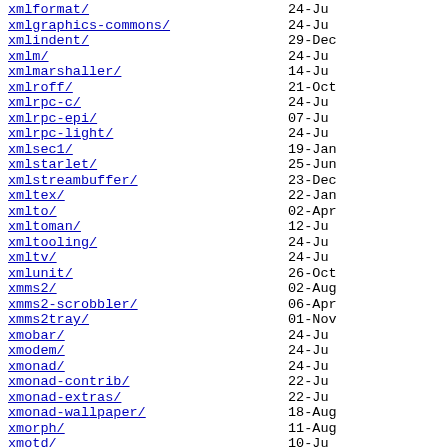xmlformat/  24-Ju
xmlgraphics-commons/  24-Ju
xmlindent/  29-Dec
xmlm/  24-Ju
xmlmarshaller/  14-Ju
xmlroff/  21-Oct
xmlrpc-c/  24-Ju
xmlrpc-epi/  07-Ju
xmlrpc-light/  24-Ju
xmlsec1/  19-Jan
xmlstarlet/  25-Jun
xmlstreambuffer/  23-Dec
xmltex/  22-Jan
xmlto/  02-Apr
xmltoman/  12-Ju
xmltooling/  24-Ju
xmltv/  24-Ju
xmlunit/  26-Oct
xmms2/  02-Aug
xmms2-scrobbler/  06-Apr
xmms2tray/  01-Nov
xmobar/  24-Ju
xmodem/  24-Ju
xmonad/  24-Ju
xmonad-contrib/  22-Ju
xmonad-extras/  22-Ju
xmonad-wallpaper/  18-Aug
xmorph/  11-Aug
xmotd/  10-Ju
xmoto/  24-Ju
xmount/  01-Feb